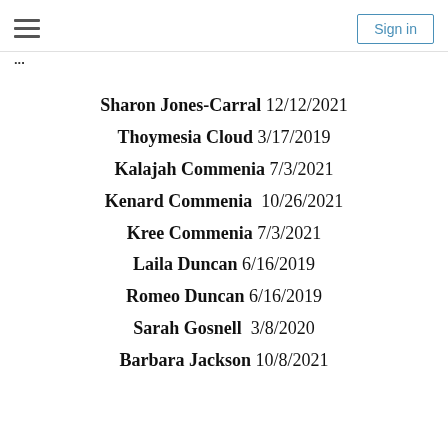≡  Sign in
...
Sharon Jones-Carral 12/12/2021
Thoymesia Cloud 3/17/2019
Kalajah Commenia 7/3/2021
Kenard Commenia 10/26/2021
Kree Commenia 7/3/2021
Laila Duncan 6/16/2019
Romeo Duncan 6/16/2019
Sarah Gosnell 3/8/2020
Barbara Jackson 10/8/2021